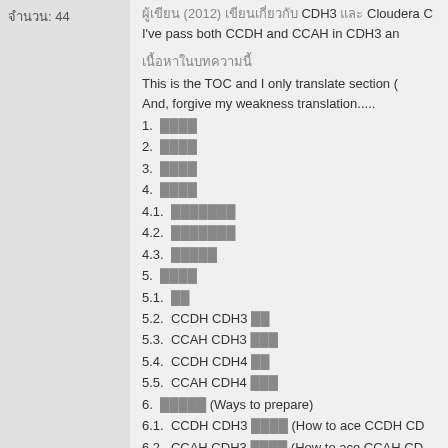จำนวน: 44
ผู้เขียน (2012) เขียนเกี่ยวกับ CDH3 และ Cloudera C... I've pass both CCDH and CCAH in CDH3 an...
เนื้อหาในบทความนี้
This is the TOC and I only translate section 0... And, forgive my weakness translation.....
1.  ████
2.  ████
3.  ████
4.  ████
4.1.  ███████
4.2.  ███████
4.3.  █████
5.  ████
5.1.  ██
5.2.  CCDH CDH3 ██
5.3.  CCAH CDH3 ███
5.4.  CCDH CDH4 ██
5.5.  CCAH CDH4 ███
6.  █████ (Ways to prepare)
6.1.  CCDH CDH3 ████ (How to ace CCDH CD...
6.2.  CCAH CDH3 ████ (How to ace CCAH CD...
6.1.  CCDH CDH4 ████ (How to ace CCDH CD...
6.2.  CCAH CDH4 ████ (How to ace CCAH CD...
7.  ██